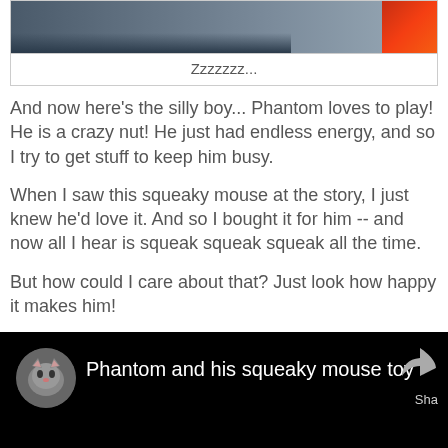[Figure (photo): Top portion of a photo showing what appears to be a sleeping cat or pet, with a red/orange object visible in the upper right corner]
Zzzzzzz...
And now here's the silly boy... Phantom loves to play! He is a crazy nut! He just had endless energy, and so I try to get stuff to keep him busy.
When I saw this squeaky mouse at the story, I just knew he'd love it. And so I bought it for him -- and now all I hear is squeak squeak squeak all the time.
But how could I care about that? Just look how happy it makes him!
[Figure (screenshot): Video embed with black background showing cat avatar icon and title 'Phantom and his squeaky mouse toy' with a share icon on the right]